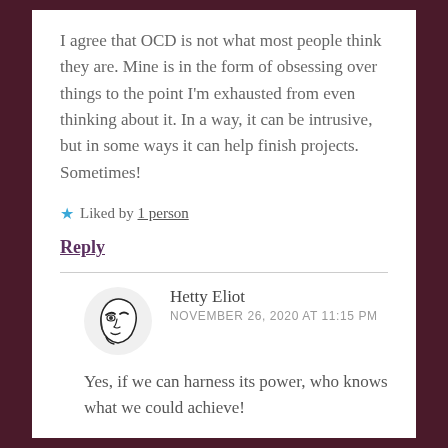I agree that OCD is not what most people think they are. Mine is in the form of obsessing over things to the point I'm exhausted from even thinking about it. In a way, it can be intrusive, but in some ways it can help finish projects. Sometimes!
★ Liked by 1 person
Reply
Hetty Eliot
NOVEMBER 26, 2020 AT 11:15 PM
Yes, if we can harness its power, who knows what we could achieve!